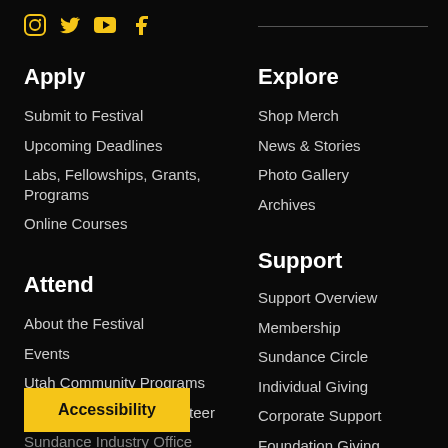[Figure (other): Social media icons: Instagram, Twitter, YouTube, Facebook in yellow/gold color]
Apply
Submit to Festival
Upcoming Deadlines
Labs, Fellowships, Grants, Programs
Online Courses
Attend
About the Festival
Events
Utah Community Programs
Become a Festival Volunteer
Sundance Industry Office
Explore
Shop Merch
News & Stories
Photo Gallery
Archives
Support
Support Overview
Membership
Sundance Circle
Individual Giving
Corporate Support
Foundation Giving
Government Support
Donate Now
Volunteer
Accessibility